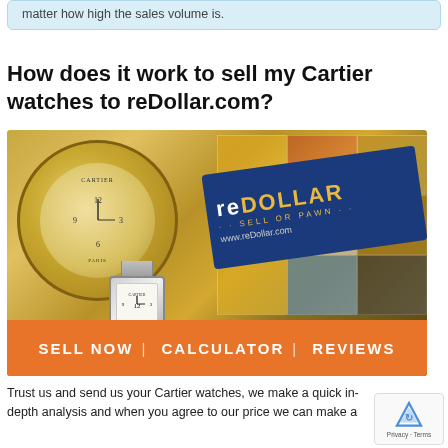matter how high the sales volume is.
How does it work to sell my Cartier watches to reDollar.com?
[Figure (photo): Photo of a Cartier pocket watch, a Cartier Tank wristwatch, and a ReDollar branded box with a grid of product images (jewelry, watches, gems). An orange bar at the bottom reads: SELL NOW | CALCULATOR | REVIEWS]
Trust us and send us your Cartier watches, we make a quick in-depth analysis and when you agree to our price we can make a